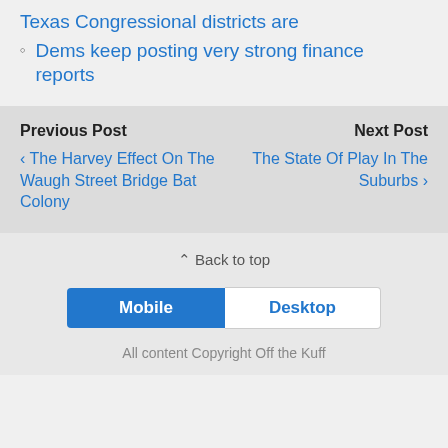Texas Congressional districts are
Dems keep posting very strong finance reports
Previous Post
‹ The Harvey Effect On The Waugh Street Bridge Bat Colony
Next Post
The State Of Play In The Suburbs ›
⌃ Back to top
Mobile  Desktop
All content Copyright Off the Kuff